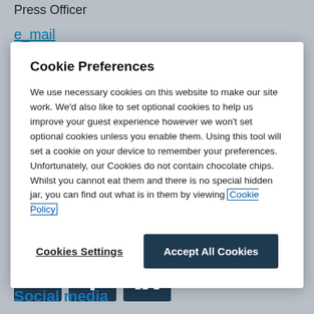Press Officer
e_mail
Cookie Preferences
We use necessary cookies on this website to make our site work. We'd also like to set optional cookies to help us improve your guest experience however we won't set optional cookies unless you enable them. Using this tool will set a cookie on your device to remember your preferences. Unfortunately, our Cookies do not contain chocolate chips. Whilst you cannot eat them and there is no special hidden jar, you can find out what is in them by viewing Cookie Policy
Cookies Settings
Accept All Cookies
regarding the restart of international travel
[Figure (other): Social media icons: Twitter, Facebook, LinkedIn — dark navy square buttons]
Social media